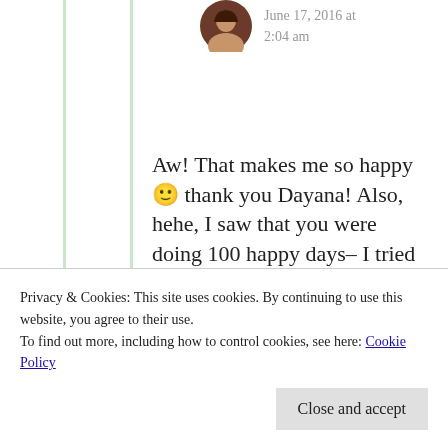June 17, 2016 at 2:04 am
Aw! That makes me so happy 🙂 thank you Dayana! Also, hehe, I saw that you were doing 100 happy days– I tried it a while ago (to no avail lol) but good luck!! This is...
Privacy & Cookies: This site uses cookies. By continuing to use this website, you agree to their use.
To find out more, including how to control cookies, see here: Cookie Policy
Close and accept